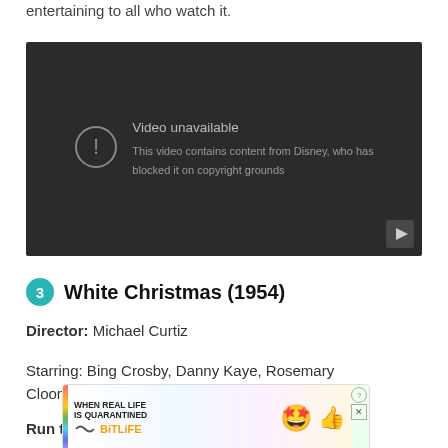entertaining to all who watch it.
[Figure (screenshot): YouTube video player showing 'Video unavailable' message: 'This video contains content from Disney, who has blocked it on copyright grounds']
3 White Christmas (1954)
Director: Michael Curtiz
Starring: Bing Crosby, Danny Kaye, Rosemary Cloon...
Run t...
[Figure (screenshot): Advertisement banner: 'WHEN REAL LIFE IS QUARANTINED' with BitLife branding and cartoon emoji characters]